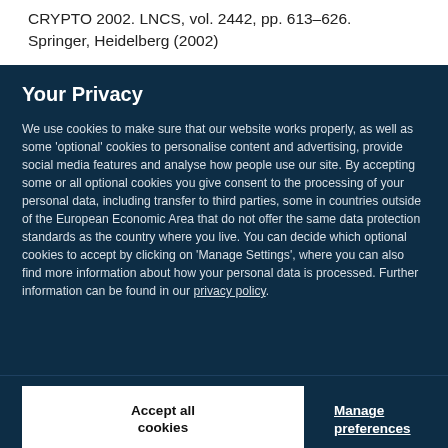CRYPTO 2002. LNCS, vol. 2442, pp. 613–626. Springer, Heidelberg (2002)
Your Privacy
We use cookies to make sure that our website works properly, as well as some 'optional' cookies to personalise content and advertising, provide social media features and analyse how people use our site. By accepting some or all optional cookies you give consent to the processing of your personal data, including transfer to third parties, some in countries outside of the European Economic Area that do not offer the same data protection standards as the country where you live. You can decide which optional cookies to accept by clicking on 'Manage Settings', where you can also find more information about how your personal data is processed. Further information can be found in our privacy policy.
Accept all cookies
Manage preferences